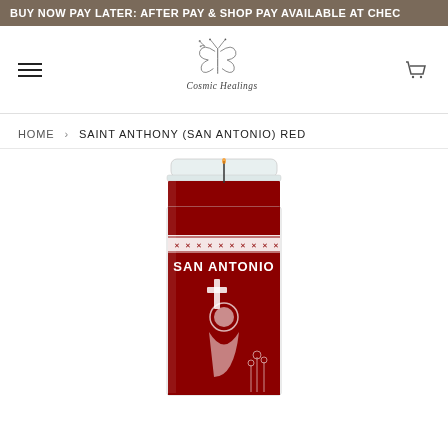BUY NOW PAY LATER: AFTER PAY & SHOP PAY AVAILABLE AT CHEC
[Figure (logo): Cosmic Healings logo with butterfly and floral illustration, cursive text reading 'Cosmic Healings']
HOME › SAINT ANTHONY (SAN ANTONIO) RED
[Figure (photo): Red Saint Anthony (San Antonio) prayer candle in a glass jar, with decorative white border pattern and 'SAN ANTONIO' text, showing a cross and saint figure illustration on red wax background]